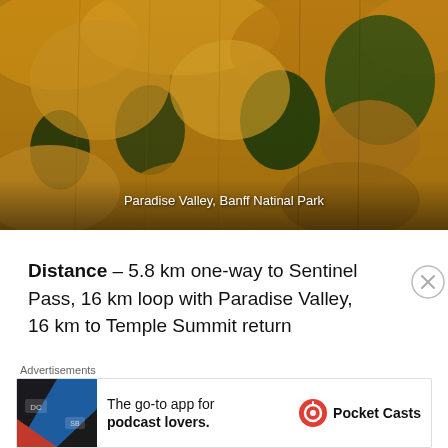[Figure (photo): Aerial or elevated view of golden/amber colored autumn trees (larches) mixed with dark green conifer trees in Paradise Valley, Banff National Park]
Paradise Valley, Banff Natinal Park
Distance – 5.8 km one-way to Sentinel Pass, 16 km loop with Paradise Valley, 16 km to Temple Summit return
Elevation Gain – 725 m to Sentinel Pass, 1691 m to Temple summit
Access – The trail head is at the end of the Moraine Lake Parking Area. Depending on the time of year, you may
[Figure (other): Advertisement banner: Pocket Casts app ad with text 'The go-to app for podcast lovers.']